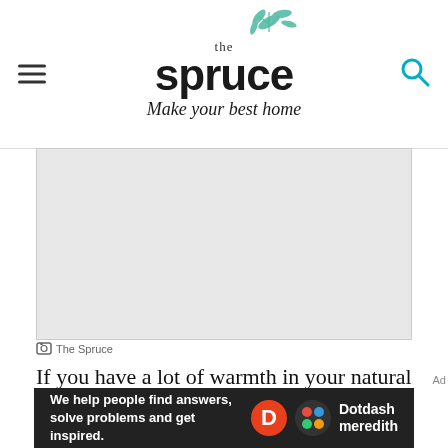the spruce — Make your best home
[Figure (photo): Gray placeholder rectangle representing an image area]
The Spruce
If you have a lot of warmth in your natural wood trim and want to tone down any of the orange hues, you'll love Benjamin Moore's Chantilly Lace (OC-65). This crisp, clean, and cool white
[Figure (infographic): Dotdash Meredith advertisement banner: 'We help people find answers, solve problems and get inspired.']